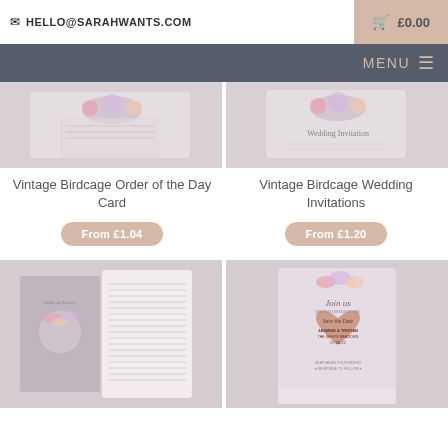HELLO@SARAHWANTS.COM
£0.00
MENU
[Figure (photo): Vintage Birdcage Order of the Day Card product photo with floral design]
[Figure (photo): Vintage Birdcage Wedding Invitations product photo with floral design]
Vintage Birdcage Order of the Day Card
Vintage Birdcage Wedding Invitations
From £1.04
From £1.20
[Figure (photo): Vintage Birdcage Order of Service booklet product photo]
[Figure (photo): Vintage Birdcage Save the Date card product photo with heart wooden magnet]